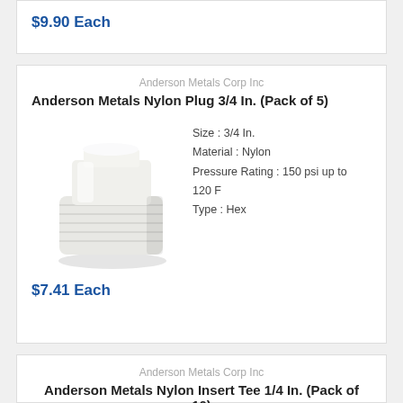$9.90 Each
Anderson Metals Corp Inc
Anderson Metals Nylon Plug 3/4 In. (Pack of 5)
[Figure (photo): White nylon hex plug fitting, 3/4 inch, showing threaded exterior and hexagonal top]
Size : 3/4 In.
Material : Nylon
Pressure Rating : 150 psi up to 120 F
Type : Hex
$7.41 Each
Anderson Metals Corp Inc
Anderson Metals Nylon Insert Tee 1/4 In. (Pack of 10)